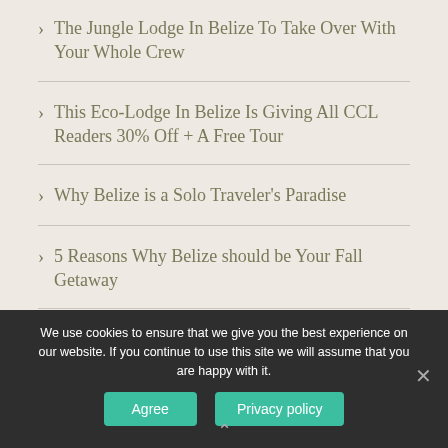The Jungle Lodge In Belize To Take Over With Your Whole Crew
This Eco-Lodge In Belize Is Giving All CCL Readers 30% Off + A Free Tour
Why Belize is a Solo Traveler's Paradise
5 Reasons Why Belize should be Your Fall Getaway
Escape To Hidden Valley Inn in the Mountain
We use cookies to ensure that we give you the best experience on our website. If you continue to use this site we will assume that you are happy with it.